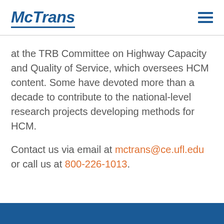McTrans
at the TRB Committee on Highway Capacity and Quality of Service, which oversees HCM content. Some have devoted more than a decade to contribute to the national-level research projects developing methods for HCM.
Contact us via email at mctrans@ce.ufl.edu or call us at 800-226-1013.